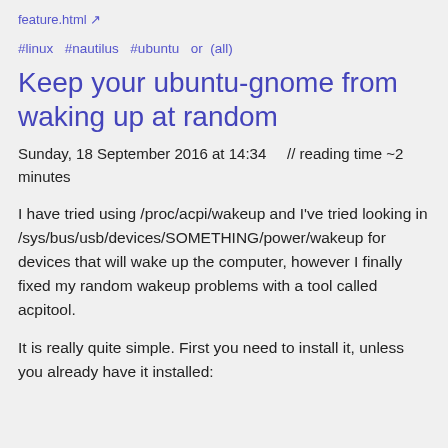feature.html ↗
#linux  #nautilus  #ubuntu  or  (all)
Keep your ubuntu-gnome from waking up at random
Sunday, 18 September 2016 at 14:34    // reading time ~2 minutes
I have tried using /proc/acpi/wakeup and I've tried looking in /sys/bus/usb/devices/SOMETHING/power/wakeup for devices that will wake up the computer, however I finally fixed my random wakeup problems with a tool called acpitool.
It is really quite simple. First you need to install it, unless you already have it installed: